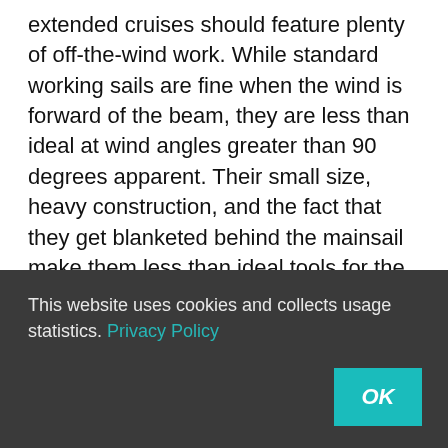extended cruises should feature plenty of off-the-wind work. While standard working sails are fine when the wind is forward of the beam, they are less than ideal at wind angles greater than 90 degrees apparent. Their small size, heavy construction, and the fact that they get blanketed behind the mainsail make them less than ideal tools for the job. That's why all cruisers should travel with an asymmetrical spinnaker – the perfect sail for downwind fun.
The classic approach to downwind cruising has been to add a cruising spinnaker. Traditionally that meant a relatively heavy (usually 1.5 oz.) nylon sail with a foot length between 1.65-1.8 of the width from clew length...
This website uses cookies and collects usage statistics. Privacy Policy